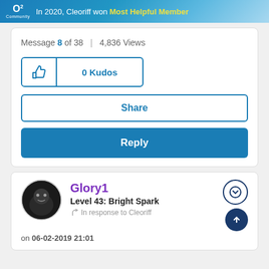[Figure (screenshot): O2 Community banner: 'In 2020, Cleoriff won Most Helpful Member']
Message 8 of 38 | 4,836 Views
[Figure (other): 0 Kudos thumbs-up button]
Share
Reply
Glory1 Level 43: Bright Spark In response to Cleoriff
on 06-02-2019 21:01